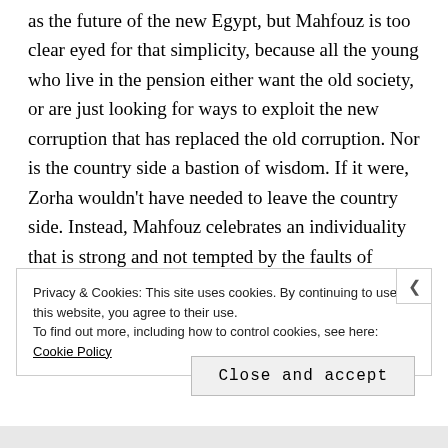as the future of the new Egypt, but Mahfouz is too clear eyed for that simplicity, because all the young who live in the pension either want the old society, or are just looking for ways to exploit the new corruption that has replaced the old corruption. Nor is the country side a bastion of wisdom. If it were, Zorha wouldn't have needed to leave the country side. Instead, Mahfouz celebrates an individuality that is strong and not tempted by the faults of society.
Privacy & Cookies: This site uses cookies. By continuing to use this website, you agree to their use.
To find out more, including how to control cookies, see here: Cookie Policy
Close and accept